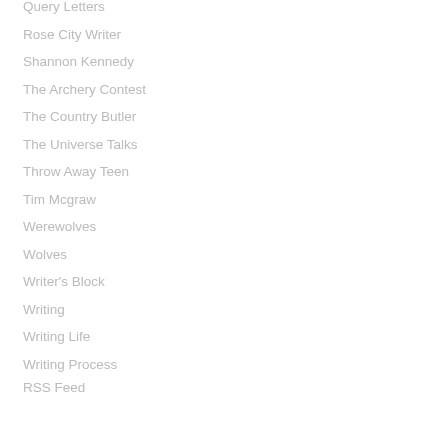Query Letters
Rose City Writer
Shannon Kennedy
The Archery Contest
The Country Butler
The Universe Talks
Throw Away Teen
Tim Mcgraw
Werewolves
Wolves
Writer's Block
Writing
Writing Life
Writing Process
RSS Feed